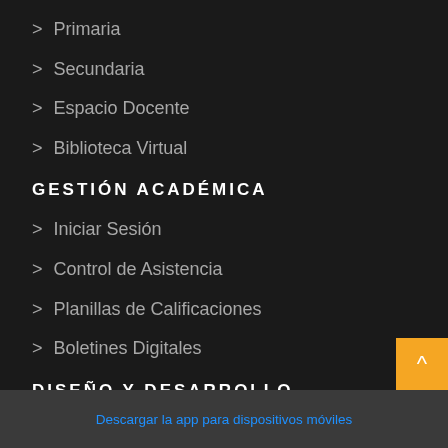> Primaria
> Secundaria
> Espacio Docente
> Biblioteca Virtual
GESTIÓN ACADÉMICA
> Iniciar Sesión
> Control de Asistencia
> Planillas de Calificaciones
> Boletines Digitales
DISEÑO Y DESARROLLO
Descargar la app para dispositivos móviles